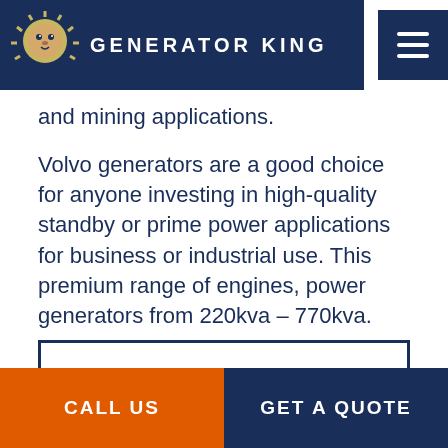GENERATOR KING
and mining applications.
Volvo generators are a good choice for anyone investing in high-quality standby or prime power applications for business or industrial use. This premium range of engines, power generators from 220kva – 770kva.
VIEW VOLVO GENERATORS
CALL US | GET A QUOTE